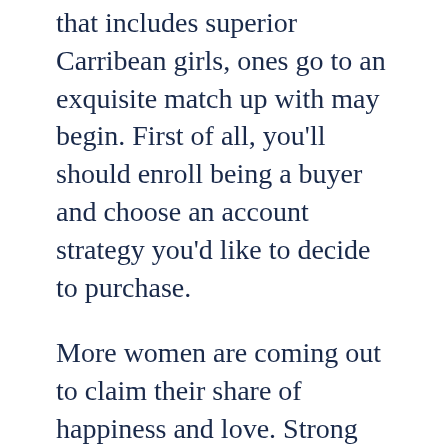that includes superior Carribean girls, ones go to an exquisite match up with may begin. First of all, you'll should enroll being a buyer and choose an account strategy you'd like to decide to purchase.
More women are coming out to claim their share of happiness and love. Strong and difficult guys are liked by these women and so if you wish to date Nigerian lass, just be sure you have the heart for it. The orthodox followers of Islam might not wish to change their religion and comply with Christianity. If you date anyone from the cities, the issue can be much less critical. You could be astonished to find some Nigerian ladies who despite being orthodox are not very ardent followers of faith. You can't keep faith out of courting in Nigeria as a result of in case you wish